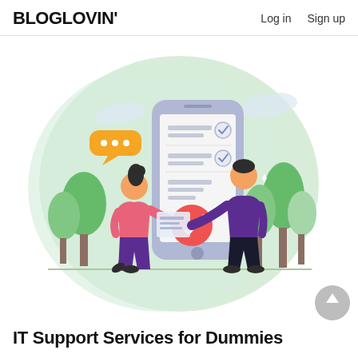BLOGLOVIN'   Log in   Sign up
[Figure (illustration): A flat-style illustration showing two cartoon characters interacting with a large smartphone. A woman in pink kneeling on one knee points a document toward the phone, and a man in purple stands and holds a red checkmark badge. Green trees, clouds, and a light green circular background surround them. An orange speech bubble with three dots is in the upper left.]
IT Support Services for Dummies